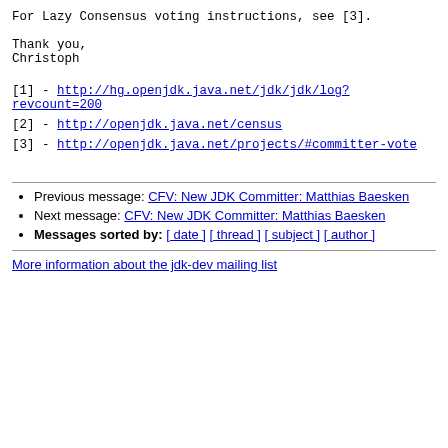For Lazy Consensus voting instructions, see [3].
Thank you,
Christoph
[1] - http://hg.openjdk.java.net/jdk/jdk/log?revcount=200
[2] - http://openjdk.java.net/census
[3] - http://openjdk.java.net/projects/#committer-vote
Previous message: CFV: New JDK Committer: Matthias Baesken
Next message: CFV: New JDK Committer: Matthias Baesken
Messages sorted by: [ date ] [ thread ] [ subject ] [ author ]
More information about the jdk-dev mailing list